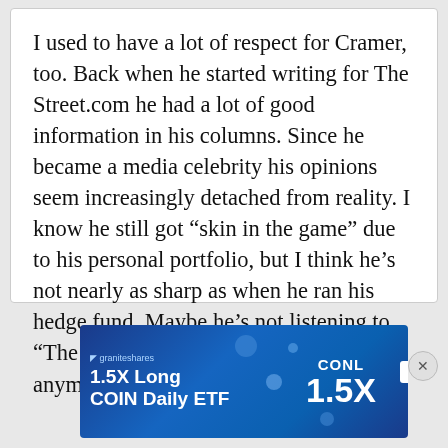I used to have a lot of respect for Cramer, too. Back when he started writing for The Street.com he had a lot of good information in his columns. Since he became a media celebrity his opinions seem increasingly detached from reality. I know he still got “skin in the game” due to his personal portfolio, but I think he’s not nearly as sharp as when he ran his hedge fund. Maybe he’s not listening to “The Trading Goddess” so much anymore”?
[Figure (infographic): Advertisement banner for GraniteShares 1.5X Long COIN Daily ETF (ticker: CONL). Blue gradient background with white text showing '1.5X Long COIN Daily ETF', 'CONL 1.5X', Coinbase logo, and a 'LEARN MORE' button. Small print at bottom right: 'Investment involves risk. Distributed by Alps Distributors, Inc.']